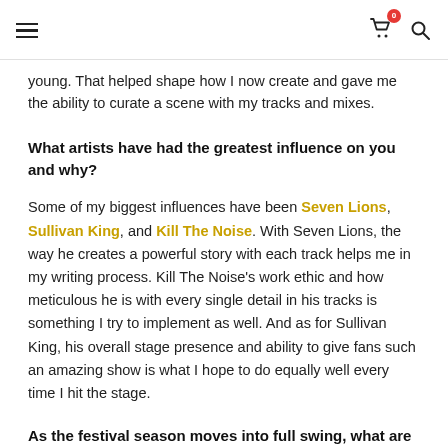Navigation header with hamburger menu, cart icon (badge: 0), and search icon
young. That helped shape how I now create and gave me the ability to curate a scene with my tracks and mixes.
What artists have had the greatest influence on you and why?
Some of my biggest influences have been Seven Lions, Sullivan King, and Kill The Noise. With Seven Lions, the way he creates a powerful story with each track helps me in my writing process. Kill The Noise's work ethic and how meticulous he is with every single detail in his tracks is something I try to implement as well. And as for Sullivan King, his overall stage presence and ability to give fans such an amazing show is what I hope to do equally well every time I hit the stage.
As the festival season moves into full swing, what are you most excited about?